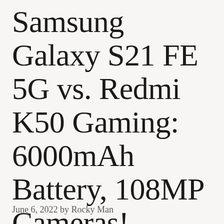Samsung Galaxy S21 FE 5G vs. Redmi K50 Gaming: 6000mAh Battery, 108MP Cameras!
June 6, 2022 by Rocky Man